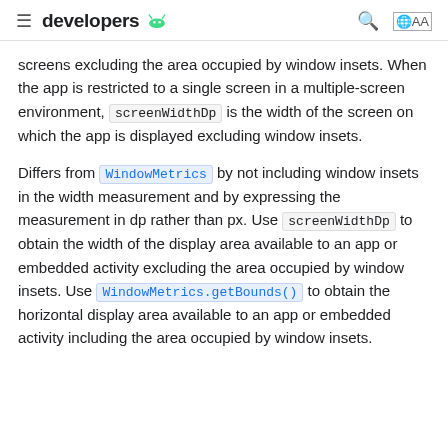≡ developers 🤖
screens excluding the area occupied by window insets. When the app is restricted to a single screen in a multiple-screen environment, screenWidthDp is the width of the screen on which the app is displayed excluding window insets.
Differs from WindowMetrics by not including window insets in the width measurement and by expressing the measurement in dp rather than px. Use screenWidthDp to obtain the width of the display area available to an app or embedded activity excluding the area occupied by window insets. Use WindowMetrics.getBounds() to obtain the horizontal display area available to an app or embedded activity including the area occupied by window insets.